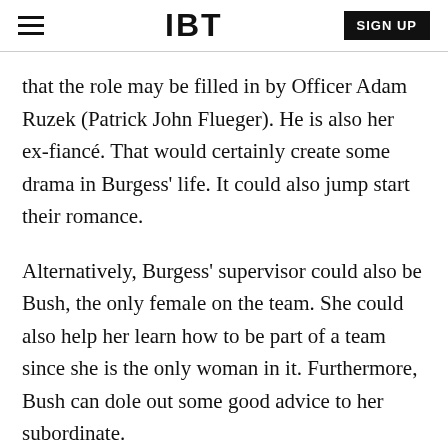IBT  SIGN UP
that the role may be filled in by Officer Adam Ruzek (Patrick John Flueger). He is also her ex-fiancé. That would certainly create some drama in Burgess' life. It could also jump start their romance.
Alternatively, Burgess' supervisor could also be Bush, the only female on the team. She could also help her learn how to be part of a team since she is the only woman in it. Furthermore, Bush can dole out some good advice to her subordinate.